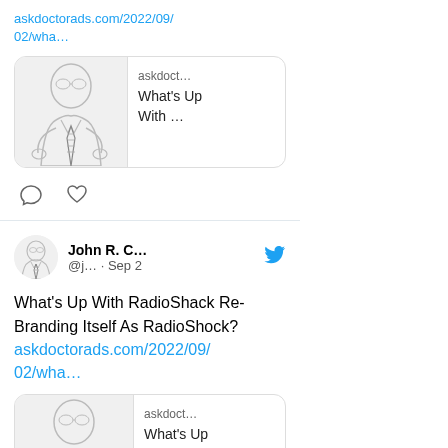askdoctorads.com/2022/09/02/wha…
[Figure (screenshot): Preview card with illustration of man in shirt and tie, site label 'askdoct…', title 'What's Up With …']
[Figure (other): Comment icon and heart/like icon]
[Figure (illustration): Avatar: illustration of man in shirt and tie]
John R. C… @j… · Sep 2
What's Up With RadioShack Re-Branding Itself As RadioShock? askdoctorads.com/2022/09/02/wha…
[Figure (screenshot): Preview card with illustration of man in shirt and tie, site label 'askdoct…', title 'What's Up With …']